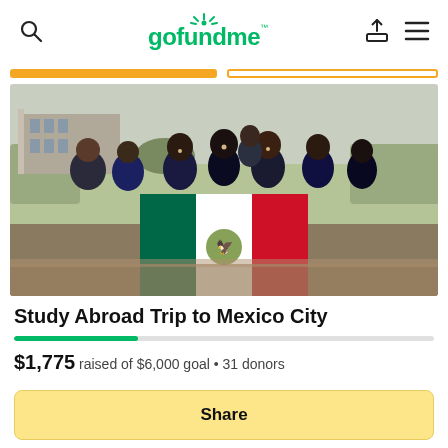gofundme
[Figure (photo): Group of students posing outdoors holding a large Mexican flag in a garden/park setting. Multiple people smiling at the camera, bare trees and brick walkways visible in the background.]
Study Abroad Trip to Mexico City
$1,775 raised of $6,000 goal • 31 donors
Share